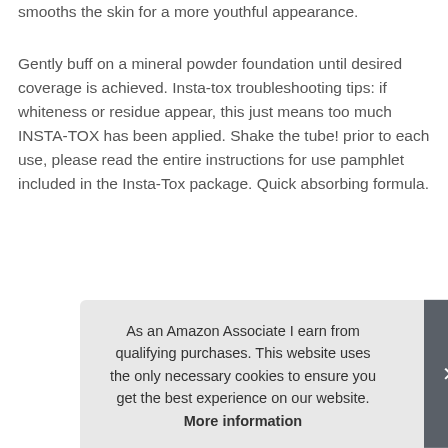smooths the skin for a more youthful appearance.
Gently buff on a mineral powder foundation until desired coverage is achieved. Insta-tox troubleshooting tips: if whiteness or residue appear, this just means too much INSTA-TOX has been applied. Shake the tube! prior to each use, please read the entire instructions for use pamphlet included in the Insta-Tox package. Quick absorbing formula.
|  |  |
| --- | --- |
| Brand | Serious Skincare #ad |
| Manufacturer | Flageoli LTD LLC #ad |
| Height | 5.25 Inches |
As an Amazon Associate I earn from qualifying purchases. This website uses the only necessary cookies to ensure you get the best experience on our website. More information